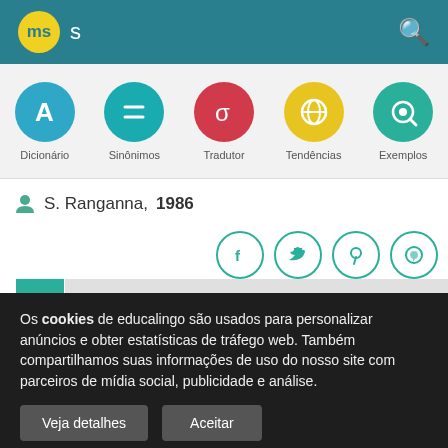ms s
[Figure (screenshot): Navigation icon row with circular icons for Dicionário, Sinônimos, Tradutor, Tendências, Exemplos]
S. Ranganna, 1986
[Figure (infographic): Social share icons: Facebook, Twitter, Pinterest, WhatsApp in teal circles]
Os cookies de educalingo são usados para personalizar anúncios e obter estatísticas de tráfego web. Também compartilhamos suas informações de uso do nosso site com parceiros de mídia social, publicidade e análise.
Veja detalhes
Aceitar